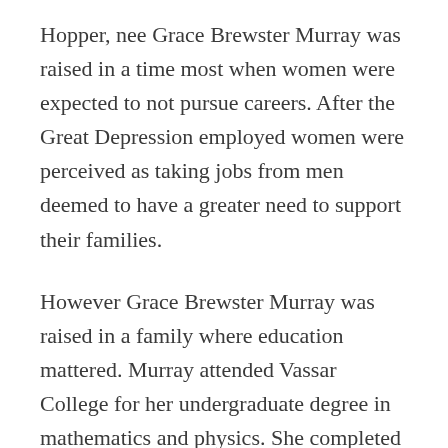Hopper, nee Grace Brewster Murray was raised in a time most when women were expected to not pursue careers. After the Great Depression employed women were perceived as taking jobs from men deemed to have a greater need to support their families.
However Grace Brewster Murray was raised in a family where education mattered. Murray attended Vassar College for her undergraduate degree in mathematics and physics. She completed her master's and doctoral degrees in mathematics at Yale in 1930 and 1934, respectively, while continuing to teach at Vassar. Between 1934